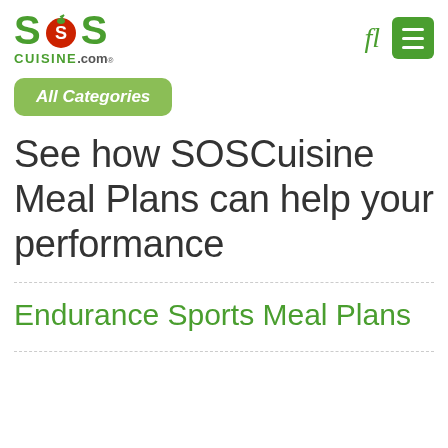SOSCuisine.com
All Categories
See how SOSCuisine Meal Plans can help your performance
Endurance Sports Meal Plans